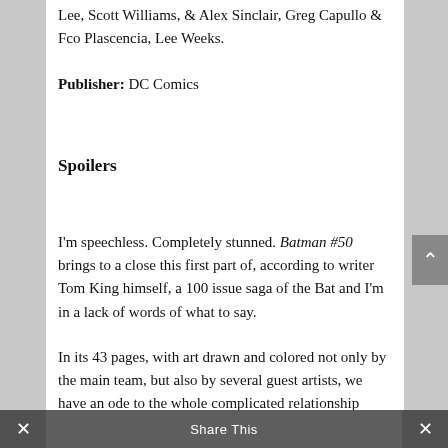Lee, Scott Williams, & Alex Sinclair, Greg Capullo & Fco Plascencia, Lee Weeks.
Publisher: DC Comics
Spoilers
I'm speechless. Completely stunned. Batman #50 brings to a close this first part of, according to writer Tom King himself, a 100 issue saga of the Bat and I'm in a lack of words of what to say.
In its 43 pages, with art drawn and colored not only by the main team, but also by several guest artists, we have an ode to the whole complicated relationship